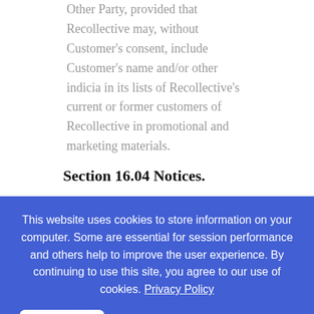Other Party, provided that Recollective may, without Customer's consent, include Customer's name and/or other indicia in its lists of Recollective's current or former customers of Recollective in promotional and marketing materials.
Section 16.04 Notices.
delivery (with written confirmation of receipt); (b) when received by the addressee if sent by a nationally recognized overnight courier (receipt requested); (c) on the date sent
This website uses cookies to store information on your computer. Some are essential for session performance and others help to improve the user experience. By continuing to use this site, you agree to our use of cookies. Privacy Policy
Accept